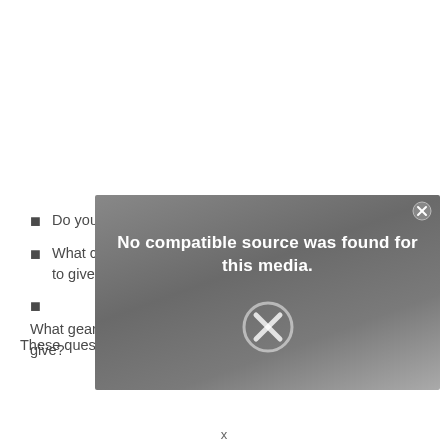Do you ordinarily increment grant sums after the first year?
What clinical costs are covered, and what will I be expected to give?
What gear costs are covered, and what will I be expected to give?
[Figure (other): Video player overlay showing 'No compatible source was found for this media.' with a grey gradient background and a circular X close button]
These questions will, in turn, clear all your questions related to